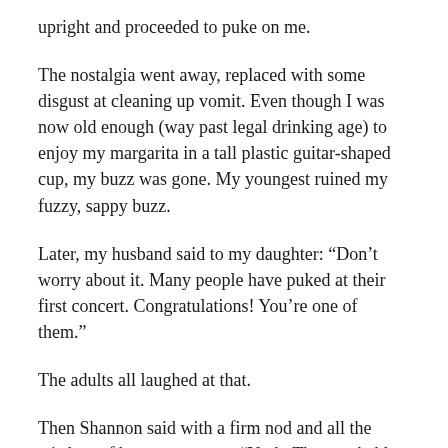upright and proceeded to puke on me.
The nostalgia went away, replaced with some disgust at cleaning up vomit. Even though I was now old enough (way past legal drinking age) to enjoy my margarita in a tall plastic guitar-shaped cup, my buzz was gone. My youngest ruined my fuzzy, sappy buzz.
Later, my husband said to my daughter: “Don’t worry about it. Many people have puked at their first concert. Congratulations! You’re one of them.”
The adults all laughed at that.
Then Shannon said with a firm nod and all the wisdom of her seven years: “Yeah. They probably had too much popcorn, too.”
Ahhh. You can’t go back. And, really, I wouldn’t want to